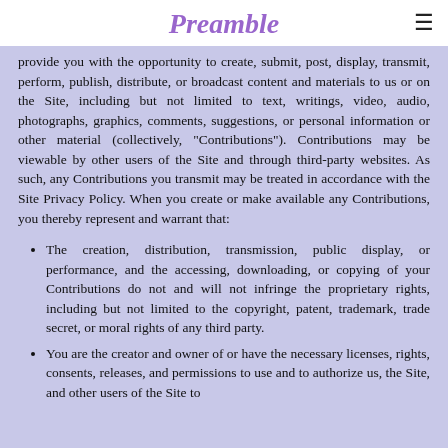Preamble
provide you with the opportunity to create, submit, post, display, transmit, perform, publish, distribute, or broadcast content and materials to us or on the Site, including but not limited to text, writings, video, audio, photographs, graphics, comments, suggestions, or personal information or other material (collectively, "Contributions"). Contributions may be viewable by other users of the Site and through third-party websites. As such, any Contributions you transmit may be treated in accordance with the Site Privacy Policy. When you create or make available any Contributions, you thereby represent and warrant that:
The creation, distribution, transmission, public display, or performance, and the accessing, downloading, or copying of your Contributions do not and will not infringe the proprietary rights, including but not limited to the copyright, patent, trademark, trade secret, or moral rights of any third party.
You are the creator and owner of or have the necessary licenses, rights, consents, releases, and permissions to use and to authorize us, the Site, and other users of the Site to